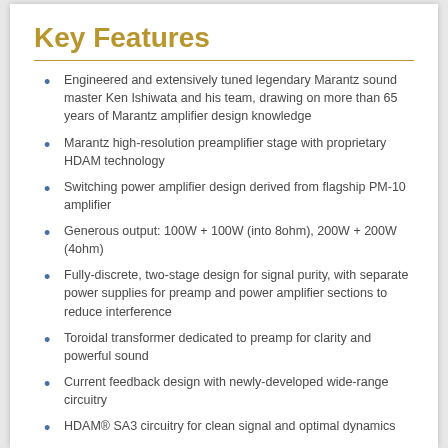Key Features
Engineered and extensively tuned legendary Marantz sound master Ken Ishiwata and his team, drawing on more than 65 years of Marantz amplifier design knowledge
Marantz high-resolution preamplifier stage with proprietary HDAM technology
Switching power amplifier design derived from flagship PM-10 amplifier
Generous output: 100W + 100W (into 8ohm), 200W + 200W (4ohm)
Fully-discrete, two-stage design for signal purity, with separate power supplies for preamp and power amplifier sections to reduce interference
Toroidal transformer dedicated to preamp for clarity and powerful sound
Current feedback design with newly-developed wide-range circuitry
HDAM® SA3 circuitry for clean signal and optimal dynamics
MM/MC Phono input with new discrete Marantz Musical Premium Phono EQ circuit
Thick nickel-plated copper independent input terminals for CD and Phono, plus Marantz original high-quality/high-purity